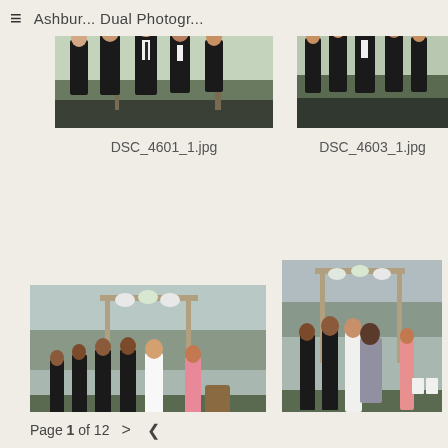≡  Ashburn Dual Photogr...
[Figure (photo): Groomsmen in black suits standing outdoors on grass, trees in background - DSC_4601_1.jpg]
[Figure (photo): Group of groomsmen in black suits standing outdoors on grass - DSC_4603_1.jpg]
DSC_4601_1.jpg
DSC_4603_1.jpg
[Figure (photo): Wedding ceremony outdoor, bride and groom under floral arch with wedding party - DSC_4905...jpg]
[Figure (photo): Wedding ceremony outdoor, couple embracing under floral arch with guests - DSC_4909.jpg]
DSC_4905...
DSC_4909.jpg
Page 1 of 12  >  <